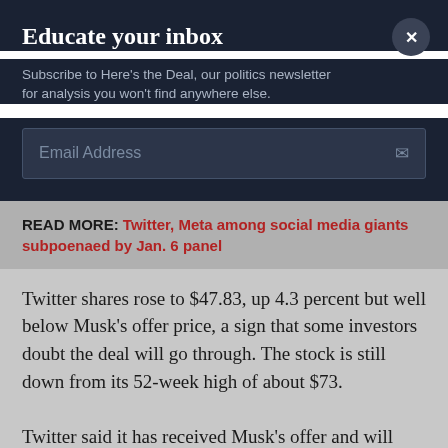Educate your inbox
Subscribe to Here's the Deal, our politics newsletter for analysis you won't find anywhere else.
Email Address
READ MORE: Twitter, Meta among social media giants subpoenaed by Jan. 6 panel
Twitter shares rose to $47.83, up 4.3 percent but well below Musk's offer price, a sign that some investors doubt the deal will go through. The stock is still down from its 52-week high of about $73.
Twitter said it has received Musk's offer and will consider the situation...